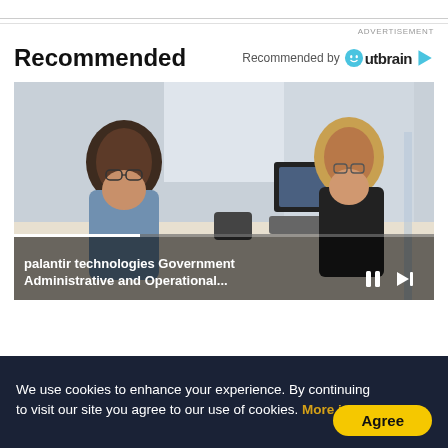ADVERTISEMENT
Recommended
[Figure (logo): Outbrain logo — 'Recommended by Outbrain' with smiley icon and play arrow]
[Figure (photo): Two women in an office setting, one at a reception desk with a computer and phone, the other standing across from her. Video player overlay with progress bar and playback controls at bottom.]
palantir technologies Government Administrative and Operational...
We use cookies to enhance your experience. By continuing to visit our site you agree to our use of cookies. More info
Agree